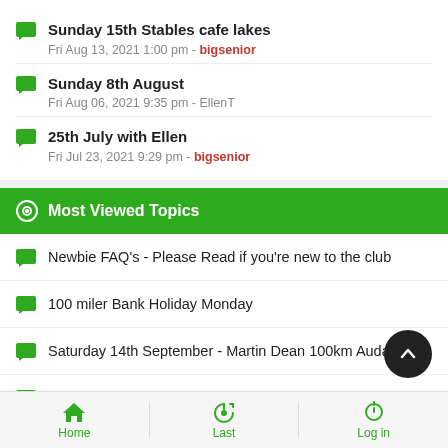Sunday 15th Stables cafe lakes
Fri Aug 13, 2021 1:00 pm - bigsenior
Sunday 8th August
Fri Aug 06, 2021 9:35 pm - EllenT
25th July with Ellen
Fri Jul 23, 2021 9:29 pm - bigsenior
Most Viewed Topics
Newbie FAQ's - Please Read if you're new to the club
100 miler Bank Holiday Monday
Saturday 14th September - Martin Dean 100km Audax
Late May Bank Holiday next Monday 27th
Home  Last  Log in